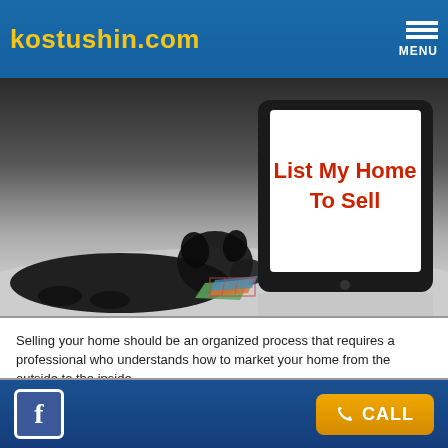kostushin.com
[Figure (photo): A black dog lying on a white surface with a colorful scarf, next to a tablet displaying 'List My Home To Sell' in red text on a white screen, set against a dark gradient background.]
Selling your home should be an organized process that requires a professional who understands how to market your home from the outside to the inside.
The first step in the process includes assessing your needs and goals. Next, educate you on the items such as the Median Price Trends, Market Area Overview, Market Rates and show you what other homes look like that are on the market in your area. It is invaluable for you to know what the competition is in the area. The next step is to learn your home from the inside-out and to list all its unique selling features. Remember why you chose this home over others — we need to know that too!
Facebook icon | CALL button